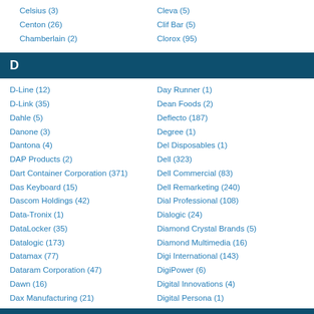Celsius (3)
Centon (26)
Chamberlain (2)
Cleva (5)
Clif Bar (5)
Clorox (95)
D
D-Line (12)
D-Link (35)
Dahle (5)
Danone (3)
Dantona (4)
DAP Products (2)
Dart Container Corporation (371)
Das Keyboard (15)
Dascom Holdings (42)
Data-Tronix (1)
DataLocker (35)
Datalogic (173)
Datamax (77)
Dataram Corporation (47)
Dawn (16)
Dax Manufacturing (21)
Day Runner (1)
Dean Foods (2)
Deflecto (187)
Degree (1)
Del Disposables (1)
Dell (323)
Dell Commercial (83)
Dell Remarketing (240)
Dial Professional (108)
Dialogic (24)
Diamond Crystal Brands (5)
Diamond Multimedia (16)
Digi International (143)
DigiPower (6)
Digital Innovations (4)
Digital Persona (1)
E
EarthChoice (65)
Eldon (1)